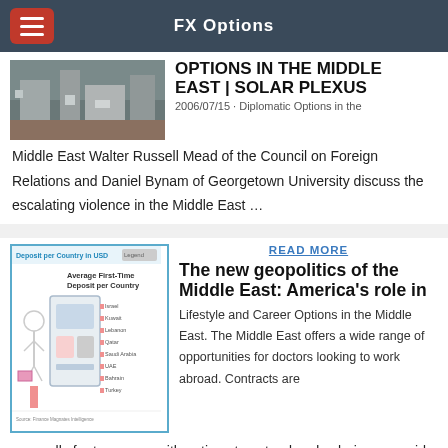FX Options
[Figure (photo): Industrial or infrastructure photo, partially cropped at top]
OPTIONS IN THE MIDDLE EAST | SOLAR PLEXUS
2006/07/15 · Diplomatic Options in the Middle East Walter Russell Mead of the Council on Foreign Relations and Daniel Bynam of Georgetown University discuss the escalating violence in the Middle East ...
READ MORE
[Figure (infographic): Deposit per Country in USD chart showing Average First-Time Deposit per Country with illustrated figures and bar chart, listing countries including Israel, Kuwait, Lebanon, Qatar, Saudi Arabia, UAE, Bahrain, Turkey. Source: Finance Magnates Intelligence]
The new geopolitics of the Middle East: America's role in
Lifestyle and Career Options in the Middle East. The Middle East offers a wide range of opportunities for doctors looking to work abroad. Contracts are generally for two years with options to extend and salaries are paid tax-free.